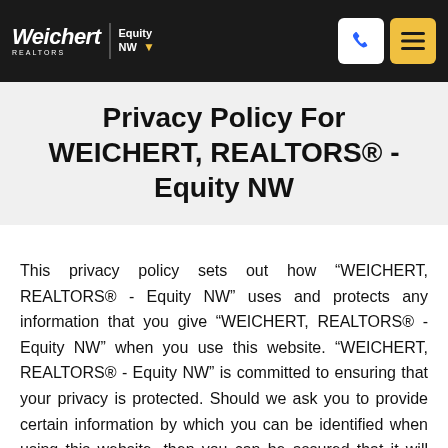Weichert REALTORS | Equity NW
Privacy Policy For WEICHERT, REALTORS® - Equity NW
This privacy policy sets out how “WEICHERT, REALTORS® - Equity NW” uses and protects any information that you give “WEICHERT, REALTORS® - Equity NW” when you use this website. “WEICHERT, REALTORS® - Equity NW” is committed to ensuring that your privacy is protected. Should we ask you to provide certain information by which you can be identified when using this website, then you can be assured that it will only be used in accordance with this privacy statement. “WEICHERT, REALTORS® - Equity NW” may change this policy from time to time by updating this